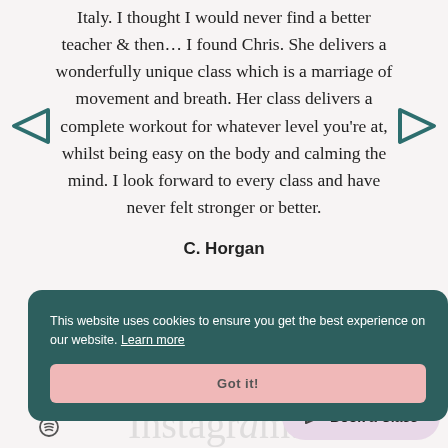Italy. I thought I would never find a better teacher & then... I found Chris. She delivers a wonderfully unique class which is a marriage of movement and breath. Her class delivers a complete workout for whatever level you're at, whilst being easy on the body and calming the mind. I look forward to every class and have never felt stronger or better.
C. Horgan
This website uses cookies to ensure you get the best experience on our website. Learn more
Got it!
Book a Class